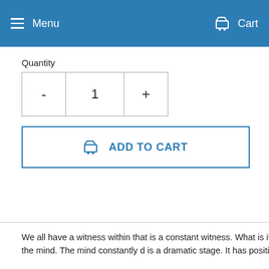Menu   Cart
Quantity
[Figure (screenshot): Quantity selector with minus button, value 1, and plus button]
[Figure (screenshot): Add to Cart button with shopping cart icon]
We all have a witness within that is a constant witness. What is it with the mind. The mind constantly d is a dramatic stage. It has positi
[Figure (screenshot): Popup overlay: Interested in ou... Receive special offers and b... Enter your email address input field and Subscribe button]